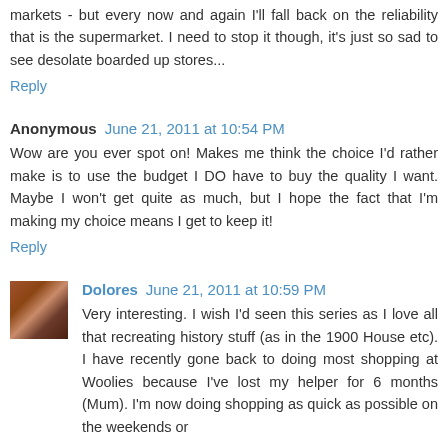markets - but every now and again I'll fall back on the reliability that is the supermarket. I need to stop it though, it's just so sad to see desolate boarded up stores...
Reply
Anonymous  June 21, 2011 at 10:54 PM
Wow are you ever spot on! Makes me think the choice I'd rather make is to use the budget I DO have to buy the quality I want. Maybe I won't get quite as much, but I hope the fact that I'm making my choice means I get to keep it!
Reply
Dolores  June 21, 2011 at 10:59 PM
Very interesting. I wish I'd seen this series as I love all that recreating history stuff (as in the 1900 House etc). I have recently gone back to doing most shopping at Woolies because I've lost my helper for 6 months (Mum). I'm now doing shopping as quick as possible on the weekends or